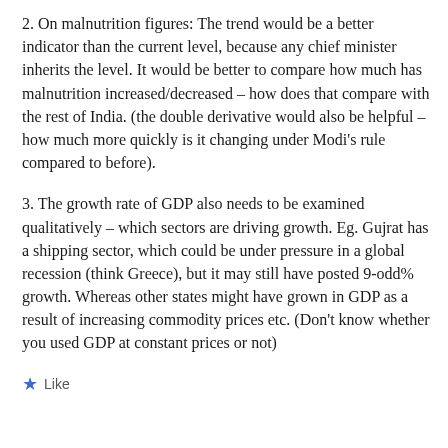2. On malnutrition figures: The trend would be a better indicator than the current level, because any chief minister inherits the level. It would be better to compare how much has malnutrition increased/decreased – how does that compare with the rest of India. (the double derivative would also be helpful – how much more quickly is it changing under Modi's rule compared to before).
3. The growth rate of GDP also needs to be examined qualitatively – which sectors are driving growth. Eg. Gujrat has a shipping sector, which could be under pressure in a global recession (think Greece), but it may still have posted 9-odd% growth. Whereas other states might have grown in GDP as a result of increasing commodity prices etc. (Don't know whether you used GDP at constant prices or not)
Like